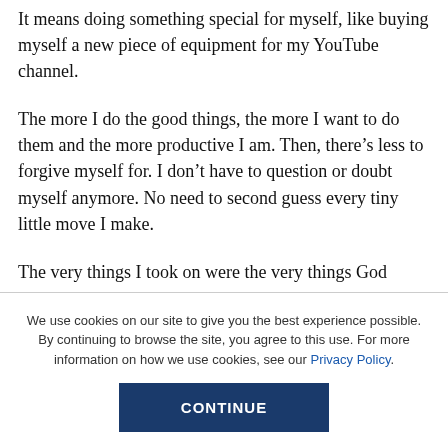It means doing something special for myself, like buying myself a new piece of equipment for my YouTube channel.
The more I do the good things, the more I want to do them and the more productive I am. Then, there’s less to forgive myself for. I don’t have to question or doubt myself anymore. No need to second guess every tiny little move I make.
The very things I took on were the very things God
We use cookies on our site to give you the best experience possible. By continuing to browse the site, you agree to this use. For more information on how we use cookies, see our Privacy Policy.
CONTINUE